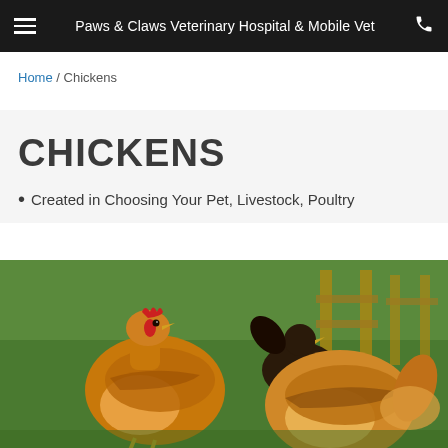Paws & Claws Veterinary Hospital & Mobile Vet
Home / Chickens
CHICKENS
Created in Choosing Your Pet, Livestock, Poultry
[Figure (photo): Two golden/buff colored chickens in a grassy outdoor area with a dark chicken and wooden fence structure visible in the background.]